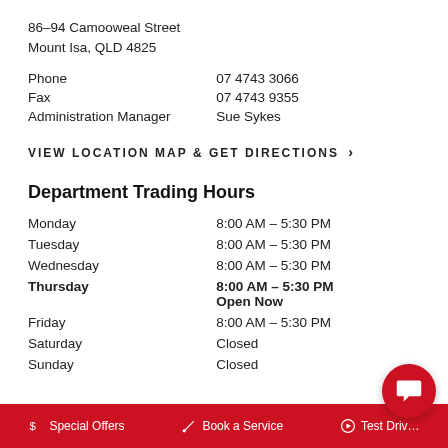86–94 Camooweal Street
Mount Isa, QLD 4825
| Phone | 07 4743 3066 |
| Fax | 07 4743 9355 |
| Administration Manager | Sue Sykes |
VIEW LOCATION MAP & GET DIRECTIONS >
Department Trading Hours
| Monday | 8:00 AM – 5:30 PM |
| Tuesday | 8:00 AM – 5:30 PM |
| Wednesday | 8:00 AM – 5:30 PM |
| Thursday | 8:00 AM – 5:30 PM
Open Now |
| Friday | 8:00 AM – 5:30 PM |
| Saturday | Closed |
| Sunday | Closed |
$ Special Offers   Book a Service   Test Drive